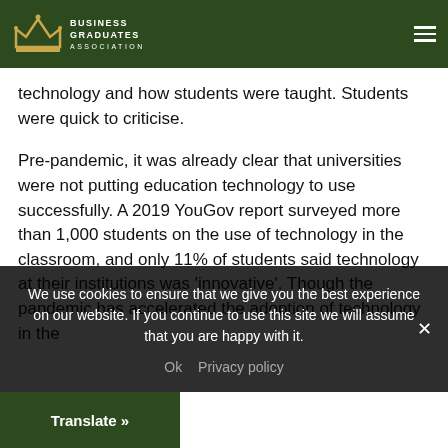Business Graduates Association
technology and how students were taught. Students were quick to criticise.
Pre-pandemic, it was already clear that universities were not putting education technology to use successfully. A 2019 YouGov report surveyed more than 1,000 students on the use of technology in the classroom, and only 11% of students said technology at their institutions was 'innovative'. Though the pandemic has accelerated the adoption of technology in the
We use cookies to ensure that we give you the best experience on our website. If you continue to use this site we will assume that you are happy with it.

Ok   Privacy policy
Translate »